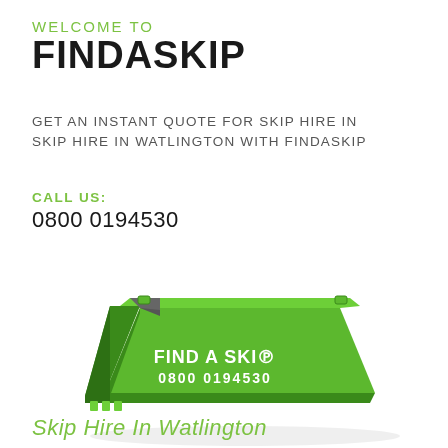WELCOME TO FINDASKIP
GET AN INSTANT QUOTE FOR SKIP HIRE IN SKIP HIRE IN WATLINGTON WITH FINDASKIP
CALL US: 0800 0194530
[Figure (illustration): A green skip bin with 'FIND A SKIP 0800 0194530' written on it in white text.]
Skip Hire In Watlington